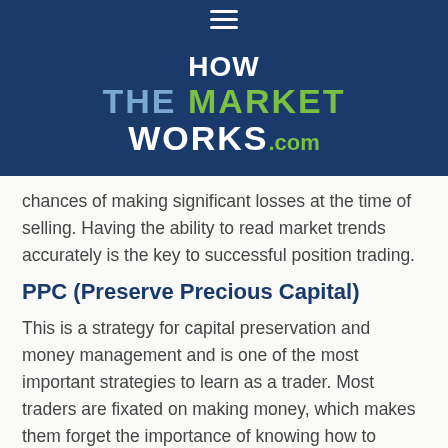HOW THE MARKET WORKS.com
chances of making significant losses at the time of selling. Having the ability to read market trends accurately is the key to successful position trading.
PPC (Preserve Precious Capital)
This is a strategy for capital preservation and money management and is one of the most important strategies to learn as a trader. Most traders are fixated on making money, which makes them forget the importance of knowing how to preserve what is invested. PPC strategy